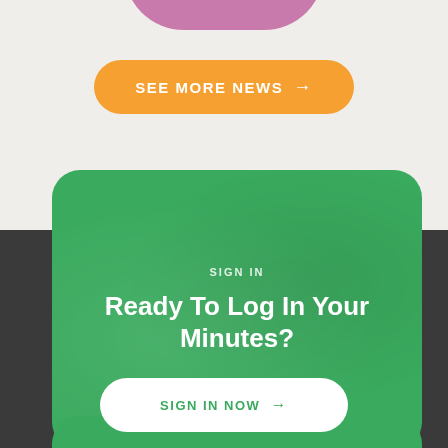[Figure (screenshot): Pink/purple rounded arc shape at top of page]
SEE MORE NEWS →
[Figure (screenshot): Green rounded card with sign in prompt and white sign in now button, on dark gray background]
SIGN IN
Ready To Log In Your Minutes?
SIGN IN NOW →